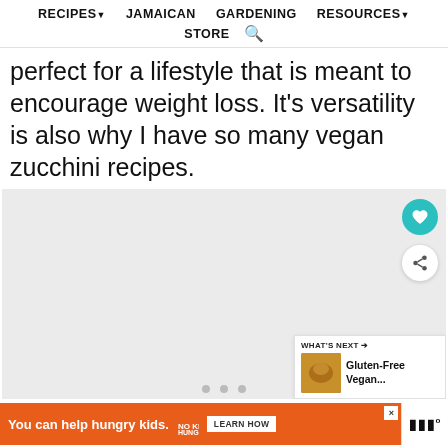RECIPES▼   JAMAICAN   GARDENING   RESOURCES▼   STORE 🔍
perfect for a lifestyle that is meant to encourage weight loss. It's versatility is also why I have so many vegan zucchini recipes.
[Figure (other): Large image placeholder area with heart/favorite button (teal circle) and share button (white circle). What's Next panel in bottom-right showing 'Gluten-Free Vegan...' with thumbnail.]
You can help hungry kids.   NO KID HUNGRY   LEARN HOW